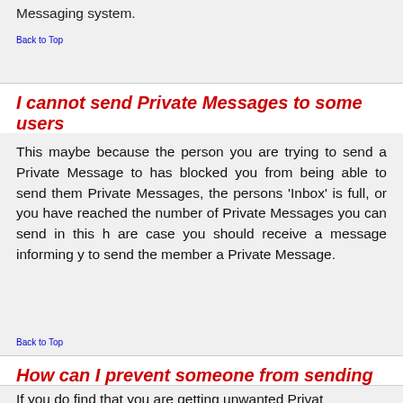Messaging system.
Back to Top
I cannot send Private Messages to some users
This maybe because the person you are trying to send a Private Message to has blocked you from being able to send them Private Messages, the persons 'Inbox' is full, or you have reached the number of Private Messages you can send in this hour. In each are case you should receive a message informing you why you are unable to send the member a Private Message.
Back to Top
How can I prevent someone from sending me Pr
If you do find that you are getting unwanted Privat